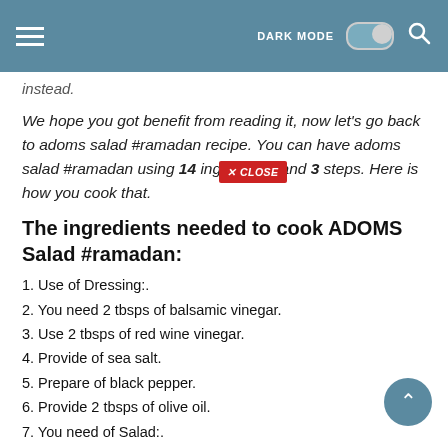DARK MODE [toggle] [search]
instead.
We hope you got benefit from reading it, now let's go back to adoms salad #ramadan recipe. You can have adoms salad #ramadan using 14 ingredients and 3 steps. Here is how you cook that.
The ingredients needed to cook ADOMS Salad #ramadan:
1. Use of Dressing:.
2. You need 2 tbsps of balsamic vinegar.
3. Use 2 tbsps of red wine vinegar.
4. Provide of sea salt.
5. Prepare of black pepper.
6. Provide 2 tbsps of olive oil.
7. You need of Salad:.